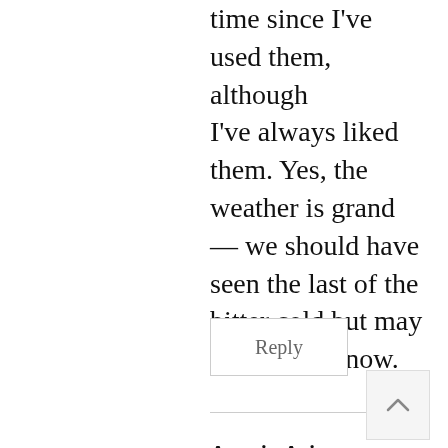time since I've used them, although I've always liked them. Yes, the weather is grand — we should have seen the last of the bitter cold but may have more snow.
Reply
Amy in Arizona says:
March 1, 2021 at 2:40 pm